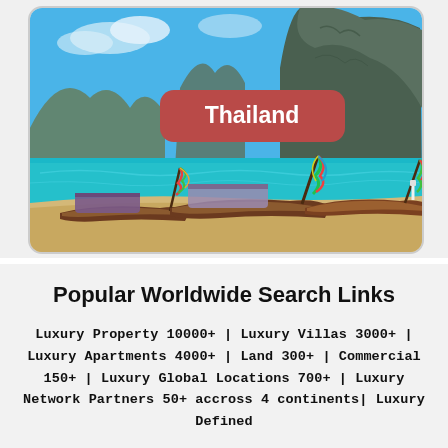[Figure (photo): Photograph of traditional Thai longtail boats moored on a beach in Thailand, with turquoise water and dramatic limestone karst cliffs in the background. A red rounded-rectangle label reading 'Thailand' is overlaid in the center of the image.]
Popular Worldwide Search Links
Luxury Property 10000+ | Luxury Villas 3000+ | Luxury Apartments 4000+ | Land 300+ | Commercial 150+ | Luxury Global Locations 700+ | Luxury Network Partners 50+ accross 4 continents| Luxury Defined